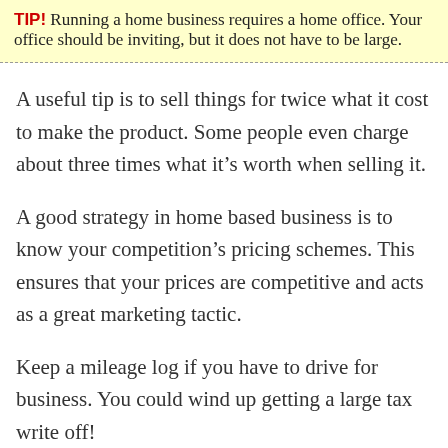TIP! Running a home business requires a home office. Your office should be inviting, but it does not have to be large.
A useful tip is to sell things for twice what it cost to make the product. Some people even charge about three times what it’s worth when selling it.
A good strategy in home based business is to know your competition’s pricing schemes. This ensures that your prices are competitive and acts as a great marketing tactic.
Keep a mileage log if you have to drive for business. You could wind up getting a large tax write off!
All the expenditures of your business should be accounted for. Even things like the gas you spent driving and your internet